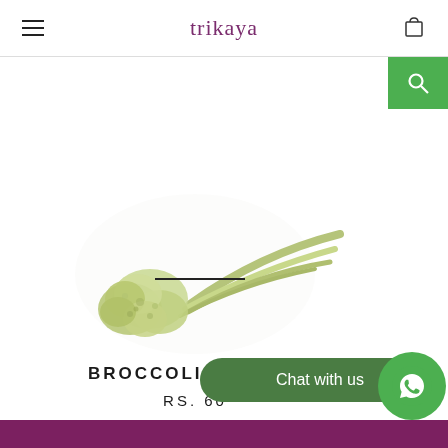trikaya
[Figure (photo): A bunch of broccolini / gailon (Chinese broccoli) with long thin stems and small florets, shown on a white background.]
BROCCOLI, GAILON
RS. 60
Chat with us